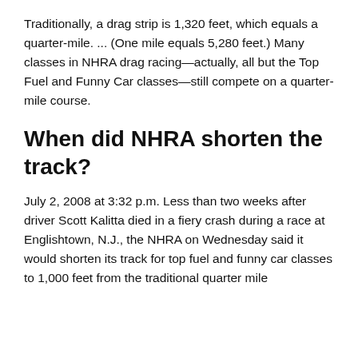Traditionally, a drag strip is 1,320 feet, which equals a quarter-mile. ... (One mile equals 5,280 feet.) Many classes in NHRA drag racing—actually, all but the Top Fuel and Funny Car classes—still compete on a quarter-mile course.
When did NHRA shorten the track?
July 2, 2008 at 3:32 p.m. Less than two weeks after driver Scott Kalitta died in a fiery crash during a race at Englishtown, N.J., the NHRA on Wednesday said it would shorten its track for top fuel and funny car classes to 1,000 feet from the traditional quarter mile